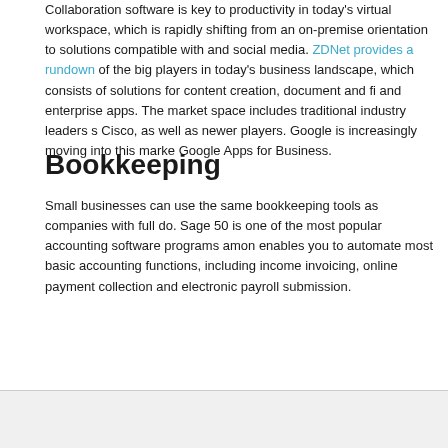Collaboration software is key to productivity in today's virtual workspace, which is rapidly shifting from an on-premise orientation to solutions compatible with and social media. ZDNet provides a rundown of the big players in today's business landscape, which consists of solutions for content creation, document and file and enterprise apps. The market space includes traditional industry leaders such as Cisco, as well as newer players. Google is increasingly moving into this market with Google Apps for Business.
Bookkeeping
Small businesses can use the same bookkeeping tools as companies with full departments do. Sage 50 is one of the most popular accounting software programs among enables you to automate most basic accounting functions, including income invoicing, online payment collection and electronic payroll submission.